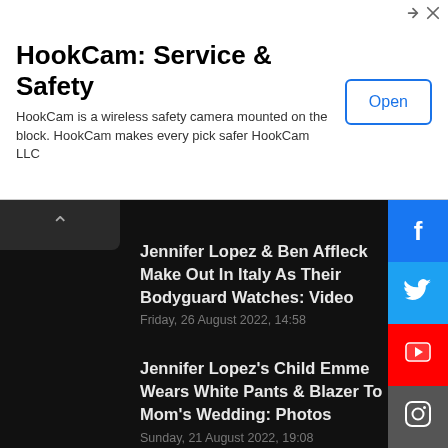[Figure (screenshot): Ad banner for HookCam with Open button and corner ad icons]
HookCam: Service & Safety
HookCam is a wireless safety camera mounted on the block. HookCam makes every pick safer HookCam LLC
Jennifer Lopez & Ben Affleck Make Out In Italy As Their Bodyguard Watches: Video
Friday, 26 August 2022, 14:58
Jennifer Lopez's Child Emme Wears White Pants & Blazer To Mom's Wedding: Photos
Sunday, 21 August 2022, 19:08
BRYAN MOREL FOR UNITED NATIONS BEST DIPLOMATS IN THAILAND
Monday, 15 August 2022, 12:25